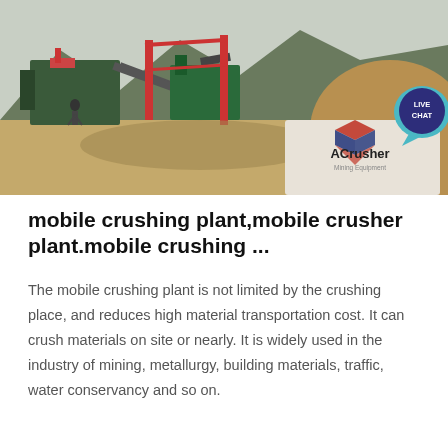[Figure (photo): Photo of a mobile crushing plant operation at a quarry/mining site with mountains in the background. Industrial crushers, conveyors, and heavy machinery are visible with a sandy/rocky terrain. An ACrusher Mining Equipment logo overlay is in the bottom-right of the image. A 'LIVE CHAT' badge is in the top-right corner.]
mobile crushing plant,mobile crusher plant.mobile crushing ...
The mobile crushing plant is not limited by the crushing place, and reduces high material transportation cost. It can crush materials on site or nearly. It is widely used in the industry of mining, metallurgy, building materials, traffic, water conservancy and so on.